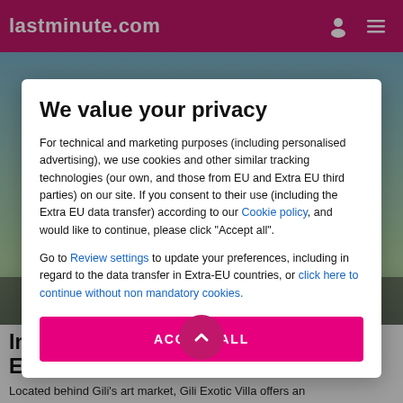lastminute.com
[Figure (screenshot): Background photo of tropical scene behind modal overlay]
We value your privacy
For technical and marketing purposes (including personalised advertising), we use cookies and other similar tracking technologies (our own, and those from EU and Extra EU third parties) on our site. If you consent to their use (including the Extra EU data transfer) according to our Cookie policy, and would like to continue, please click "Accept all".
Go to Review settings to update your preferences, including in regard to the data transfer in Extra-EU countries, or click here to continue without non mandatory cookies.
ACCEPT ALL
Information about Gili Exotic Villa Hotel
Located behind Gili's art market, Gili Exotic Villa offers an